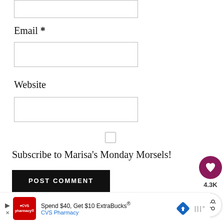Email *
[Figure (screenshot): Empty email input text box]
Website
[Figure (screenshot): Empty website input text box]
[Figure (screenshot): Checkbox for subscribing]
Subscribe to Marisa's Monday Morsels!
POST COMMENT
[Figure (infographic): Heart/like button with 4.3K count and share button on right side]
[Figure (screenshot): CVS Pharmacy advertisement: Spend $40, Get $10 ExtraBucks®]